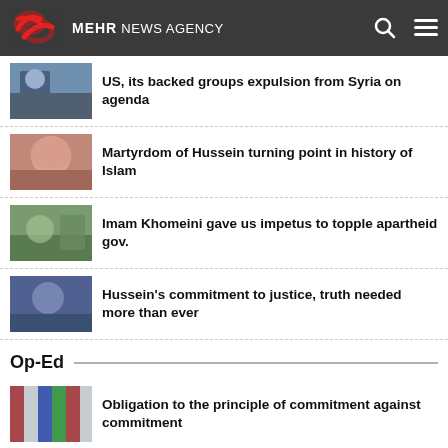MEHR NEWS AGENCY
US, its backed groups expulsion from Syria on agenda
Martyrdom of Hussein turning point in history of Islam
Imam Khomeini gave us impetus to topple apartheid gov.
Hussein's commitment to justice, truth needed more than ever
Op-Ed
Obligation to the principle of commitment against commitment